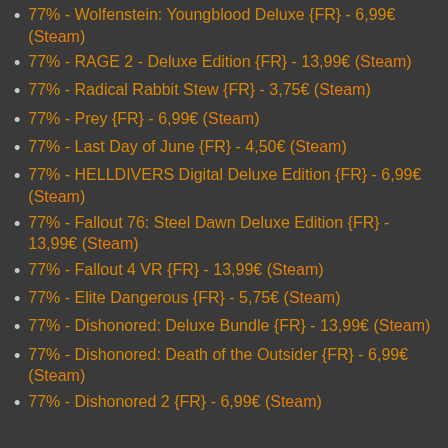77% - Wolfenstein: Youngblood Deluxe {FR} - 6,99€ (Steam)
77% - RAGE 2 - Deluxe Edition {FR} - 13,99€ (Steam)
77% - Radical Rabbit Stew {FR} - 3,75€ (Steam)
77% - Prey {FR} - 6,99€ (Steam)
77% - Last Day of June {FR} - 4,50€ (Steam)
77% - HELLDIVERS Digital Deluxe Edition {FR} - 6,99€ (Steam)
77% - Fallout 76: Steel Dawn Deluxe Edition {FR} - 13,99€ (Steam)
77% - Fallout 4 VR {FR} - 13,99€ (Steam)
77% - Elite Dangerous {FR} - 5,75€ (Steam)
77% - Dishonored: Deluxe Bundle {FR} - 13,99€ (Steam)
77% - Dishonored: Death of the Outsider {FR} - 6,99€ (Steam)
77% - Dishonored 2 {FR} - 6,99€ (Steam)